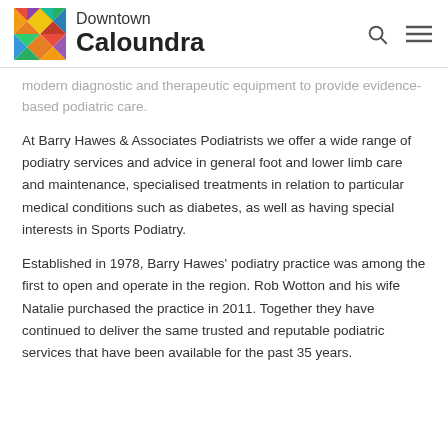Downtown Caloundra
modern diagnostic and therapeutic equipment to provide evidence-based podiatric care.
At Barry Hawes & Associates Podiatrists we offer a wide range of podiatry services and advice in general foot and lower limb care and maintenance, specialised treatments in relation to particular medical conditions such as diabetes, as well as having special interests in Sports Podiatry.
Established in 1978, Barry Hawes' podiatry practice was among the first to open and operate in the region. Rob Wotton and his wife Natalie purchased the practice in 2011. Together they have continued to deliver the same trusted and reputable podiatric services that have been available for the past 35 years.